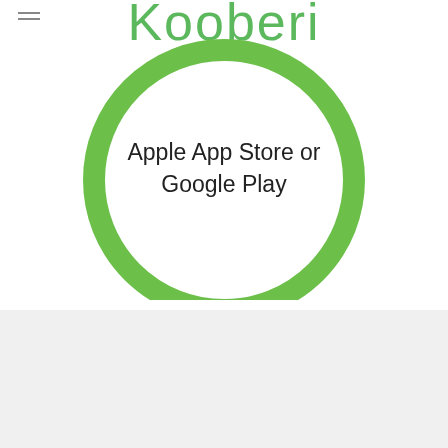Kooberi
[Figure (illustration): Green circle ring graphic with text 'Apple App Store or Google Play' centered inside]
Get Caffe Cozzolino coupon codes, promos, and specials to save money.  All deals and coupons are issued directly by Caffe Cozzolino. All deals are valid only for few hours.